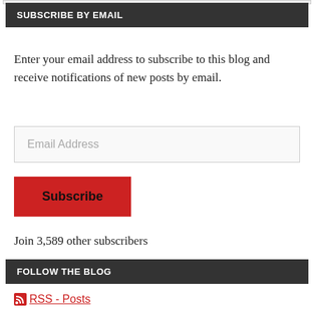SUBSCRIBE BY EMAIL
Enter your email address to subscribe to this blog and receive notifications of new posts by email.
Email Address
Subscribe
Join 3,589 other subscribers
FOLLOW THE BLOG
RSS - Posts